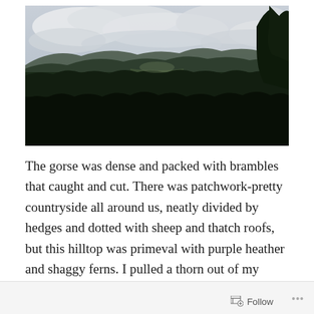[Figure (photo): Panoramic landscape photo of moorland/heathland with dark dense shrubs in the foreground, rolling hills and valleys in the middle distance, and a cloudy overcast sky. Trees visible on the right edge.]
The gorse was dense and packed with brambles that caught and cut. There was patchwork-pretty countryside all around us, neatly divided by hedges and dotted with sheep and thatch roofs, but this hilltop was primeval with purple heather and shaggy ferns. I pulled a thorn out of my thumb and kept
Follow ...